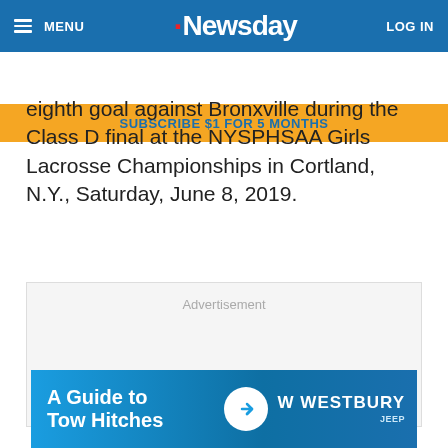MENU | Newsday | LOG IN
SUBSCRIBE $1 FOR 5 MONTHS
eighth goal against Bronxville during the Class D final at the NYSPHSAA Girls Lacrosse Championships in Cortland, N.Y., Saturday, June 8, 2019.
[Figure (other): Advertisement placeholder box]
[Figure (other): A Guide to Tow Hitches - Westbury Jeep advertisement banner]